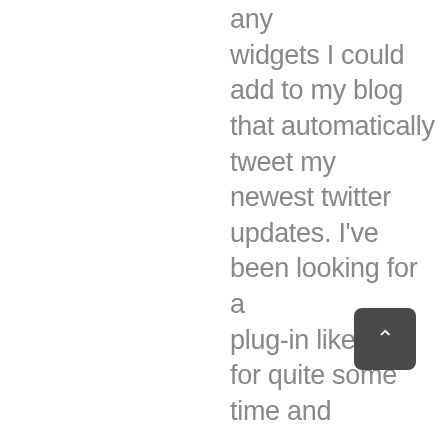any widgets I could add to my blog that automatically tweet my newest twitter updates. I've been looking for a plug-in like this for quite some time and was hoping maybe you would have some experience with something like this.

Please let me know if you run into anything. I truly enjoy